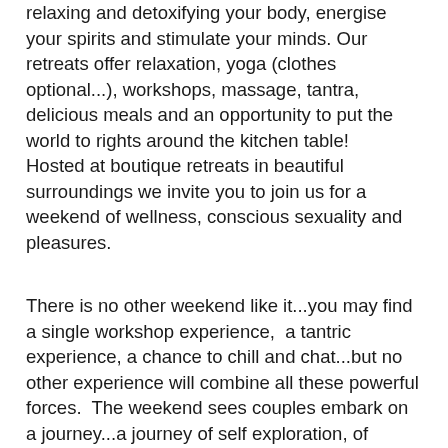relaxing and detoxifying your body, energise your spirits and stimulate your minds. Our retreats offer relaxation, yoga (clothes optional...), workshops, massage, tantra, delicious meals and an opportunity to put the world to rights around the kitchen table!   Hosted at boutique retreats in beautiful surroundings we invite you to join us for a weekend of wellness, conscious sexuality and pleasures.
There is no other weekend like it...you may find a single workshop experience,  a tantric experience, a chance to chill and chat...but no other experience will combine all these powerful forces.  The weekend sees couples embark on a journey...a journey of self exploration, of rediscovering the spark, recreating the magic, re-awakening the ability to actually stop, look at each other and listen to each other.  Add in the ability to drink endless cups of tea, perhaps a few glasses of wine whilst sharing